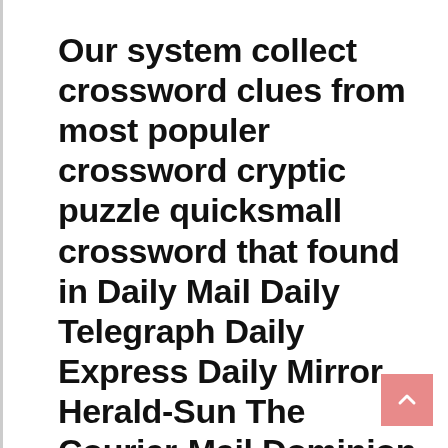Our system collect crossword clues from most populer crossword cryptic puzzle quicksmall crossword that found in Daily Mail Daily Telegraph Daily Express Daily Mirror Herald-Sun The Courier-Mail Dominion Post and many others popular newspaper